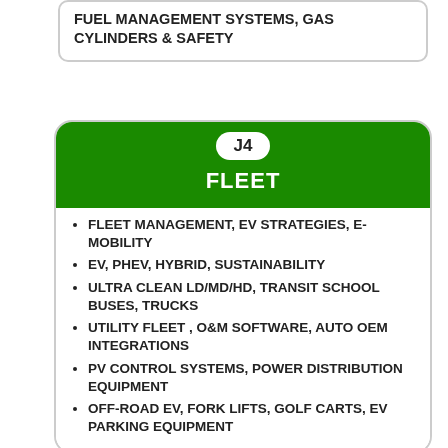FUEL MANAGEMENT SYSTEMS, GAS CYLINDERS & SAFETY
J4 FLEET
FLEET MANAGEMENT, EV STRATEGIES, E-MOBILITY
EV, PHEV, HYBRID, SUSTAINABILITY
ULTRA CLEAN LD/MD/HD, TRANSIT SCHOOL BUSES, TRUCKS
UTILITY FLEET , O&M SOFTWARE, AUTO OEM INTEGRATIONS
PV CONTROL SYSTEMS, POWER DISTRIBUTION EQUIPMENT
OFF-ROAD EV, FORK LIFTS, GOLF CARTS, EV PARKING EQUIPMENT